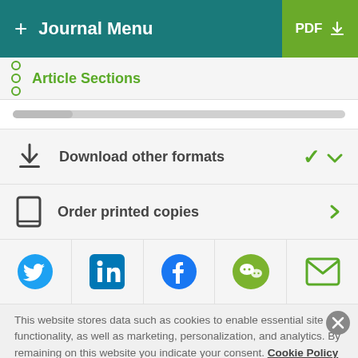+ Journal Menu | PDF
Article Sections
Download other formats
Order printed copies
[Figure (other): Social sharing icons: Twitter, LinkedIn, Facebook, WeChat, Email]
This website stores data such as cookies to enable essential site functionality, as well as marketing, personalization, and analytics. By remaining on this website you indicate your consent. Cookie Policy